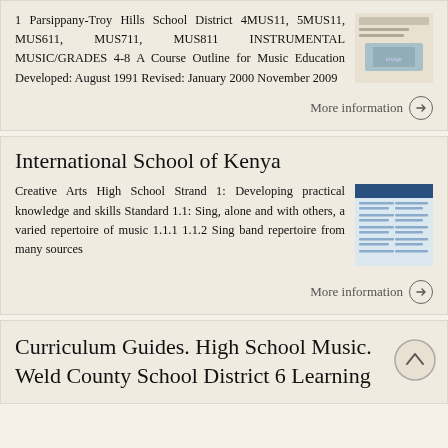1 Parsippany-Troy Hills School District 4MUS11, 5MUS11, MUS611, MUS711, MUS811 INSTRUMENTAL MUSIC/GRADES 4-8 A Course Outline for Music Education Developed: August 1991 Revised: January 2000 November 2009
More information →
International School of Kenya
Creative Arts High School Strand 1: Developing practical knowledge and skills Standard 1.1: Sing, alone and with others, a varied repertoire of music 1.1.1 1.1.2 Sing band repertoire from many sources
More information →
Curriculum Guides. High School Music. Weld County School District 6 Learning